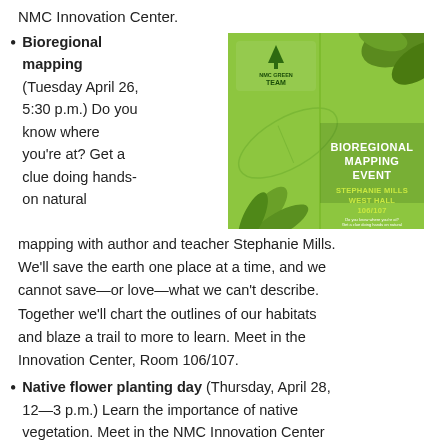NMC Innovation Center.
Bioregional mapping (Tuesday April 26, 5:30 p.m.) Do you know where you’re at? Get a clue doing hands-on natural mapping with author and teacher Stephanie Mills. We’ll save the earth one place at a time, and we cannot save—or love—what we can’t describe. Together we’ll chart the outlines of our habitats and blaze a trail to more to learn. Meet in the Innovation Center, Room 106/107.
[Figure (photo): Green brochure for Bioregional Mapping Event featuring NMC Green Team logo, plant illustrations, and text: BIOREGIONAL MAPPING EVENT, STEPHANIE MILLS, WEST HALL 106/107]
Native flower planting day (Thursday, April 28, 12—3 p.m.) Learn the importance of native vegetation. Meet in the NMC Innovation Center